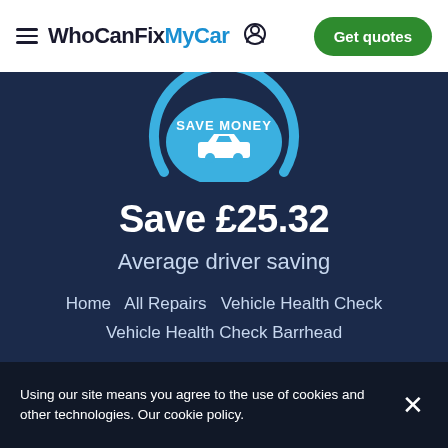WhoCanFixMyCar — Get quotes
[Figure (logo): Save Money badge with car icon and circular arc in light blue]
Save £25.32
Average driver saving
Home   All Repairs   Vehicle Health Check   Vehicle Health Check Barrhead
Using our site means you agree to the use of cookies and other technologies. Our cookie policy.